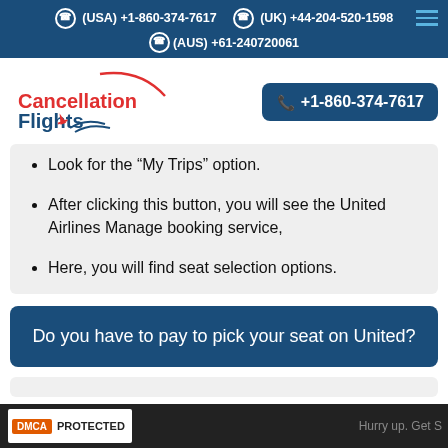(USA) +1-860-374-7617  (UK) +44-204-520-1598  (AUS) +61-240720061
[Figure (logo): CancellationFlights logo with red and dark blue text and airplane icon]
+1-860-374-7617
Look for the “My Trips” option.
After clicking this button, you will see the United Airlines Manage booking service,
Here, you will find seat selection options.
Do you have to pay to pick your seat on United?
Hurry up. Get S  DMCA PROTECTED